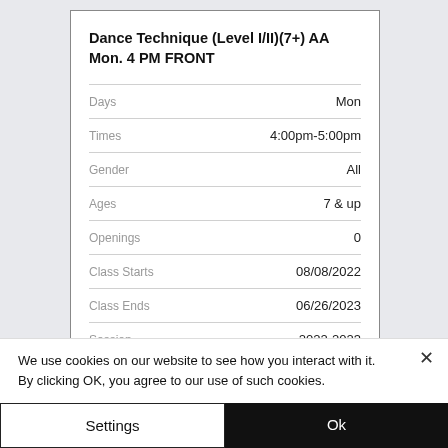Dance Technique (Level I/II)(7+) AA Mon. 4 PM FRONT
| Field | Value |
| --- | --- |
| Days | Mon |
| Times | 4:00pm-5:00pm |
| Gender | All |
| Ages | 7 & up |
| Openings | 0 |
| Class Starts | 08/08/2022 |
| Class Ends | 06/26/2023 |
| Session | 2022-2023 |
We use cookies on our website to see how you interact with it. By clicking OK, you agree to our use of such cookies.